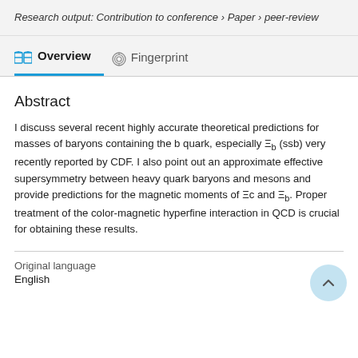Research output: Contribution to conference › Paper › peer-review
Overview   Fingerprint
Abstract
I discuss several recent highly accurate theoretical predictions for masses of baryons containing the b quark, especially Ξb (ssb) very recently reported by CDF. I also point out an approximate effective supersymmetry between heavy quark baryons and mesons and provide predictions for the magnetic moments of Ξc and Ξb. Proper treatment of the color-magnetic hyperfine interaction in QCD is crucial for obtaining these results.
Original language
English